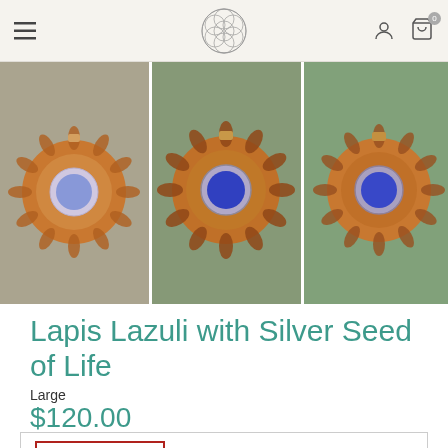Navigation header with menu, logo, user and cart icons
[Figure (photo): Three photos of a Lapis Lazuli with Silver Seed of Life pendant — an orange sun-like decorative pendant with a blue lapis lazuli stone center, shown from slightly different angles against a background of pine branches and crystals.]
Lapis Lazuli with Silver Seed of Life
Large
$120.00
OUT OF STOCK